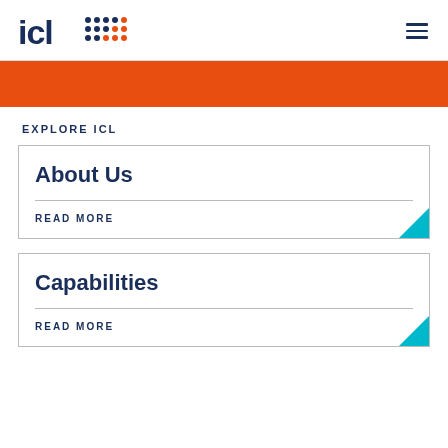ICL
EXPLORE ICL
About Us
READ MORE
Capabilities
READ MORE